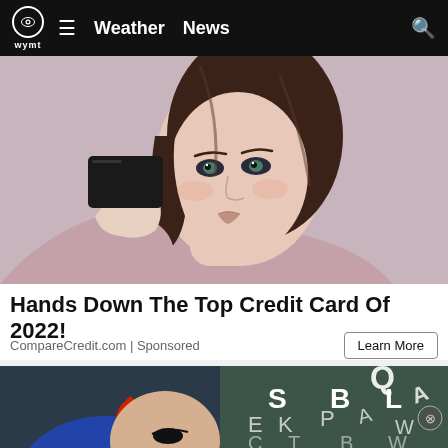WYMT Weather News
[Figure (photo): Woman holding a black credit card, wearing a mauve off-shoulder sweater, against a light pink background. Stock photo used in advertisement.]
Hands Down The Top Credit Card Of 2022!
CompareCredit.com | Sponsored
[Figure (photo): Partial view of a woman with blue hair with red highlights visible on the left side. On the right side, scattered letters (Q, S, B, L, E, K, P, A, W, C, T, B) on a dark teal background, suggesting a word game advertisement.]